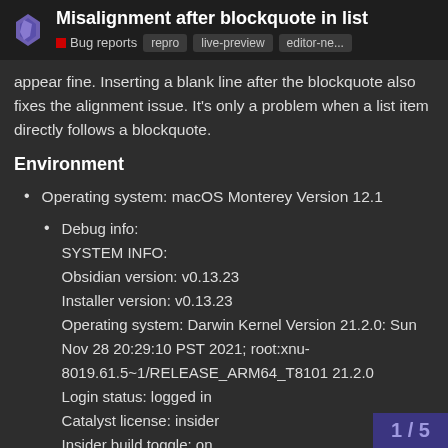Misalignment after blockquote in list | Bug reports | repro | live-preview | editor-ne...
appear fine. Inserting a blank line after the blockquote also fixes the alignment issue. It’s only a problem when a list item directly follows a blockquote.
Environment
Operating system: macOS Monterey Version 12.1
Debug info:
SYSTEM INFO:
Obsidian version: v0.13.23
Installer version: v0.13.23
Operating system: Darwin Kernel Version 21.2.0: Sun Nov 28 20:29:10 PST 2021; root:xnu-8019.61.5~1/RELEASE_ARM64_T8101 21.2.0
Login status: logged in
Catalyst license: insider
Insider build toggle: on
1 / 5